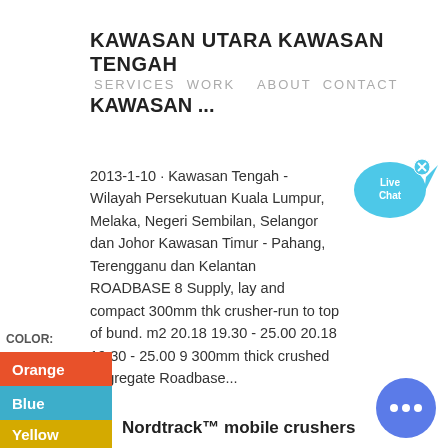KAWASAN UTARA KAWASAN TENGAH
SERVICES WORK ABOUT CONTACT
KAWASAN ...
2013-1-10 · Kawasan Tengah - Wilayah Persekutuan Kuala Lumpur, Melaka, Negeri Sembilan, Selangor dan Johor Kawasan Timur - Pahang, Terengganu dan Kelantan ROADBASE 8 Supply, lay and compact 300mm thk crusher-run to top of bund. m2 20.18 19.30 - 25.00 20.18 19.30 - 25.00 9 300mm thick crushed aggregate Roadbase...
[Figure (other): Live Chat speech bubble icon in blue with 'Live Chat' text and an X close button]
COLOR:
Orange
Blue
Yellow
Nordtrack™ mobile crushers
[Figure (other): Blue circular chat button with three white dots]